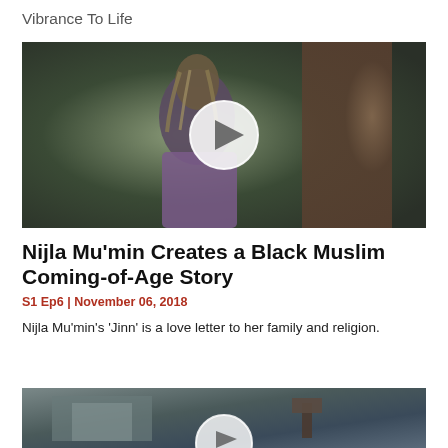Vibrance To Life
[Figure (photo): Video thumbnail showing a young Black woman with braided hair standing outdoors near a tree, with a play button overlay circle in the center]
Nijla Mu'min Creates a Black Muslim Coming-of-Age Story
S1 Ep6 | November 06, 2018
Nijla Mu'min's 'Jinn' is a love letter to her family and religion.
[Figure (photo): Video thumbnail showing a film crew outdoors near a modern building, with a play button overlay circle partially visible at bottom]